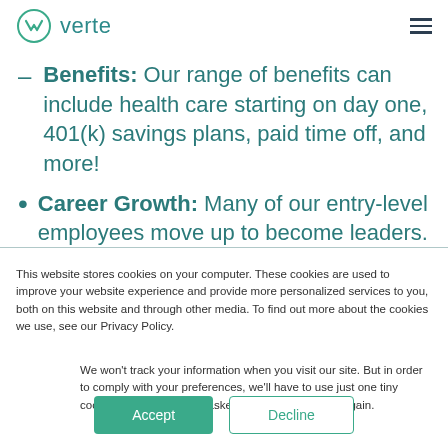verte
Benefits: Our range of benefits can include health care starting on day one, 401(k) savings plans, paid time off, and more!
Career Growth: Many of our entry-level employees move up to become leaders.
This website stores cookies on your computer. These cookies are used to improve your website experience and provide more personalized services to you, both on this website and through other media. To find out more about the cookies we use, see our Privacy Policy.
We won't track your information when you visit our site. But in order to comply with your preferences, we'll have to use just one tiny cookie so that you're not asked to make this choice again.